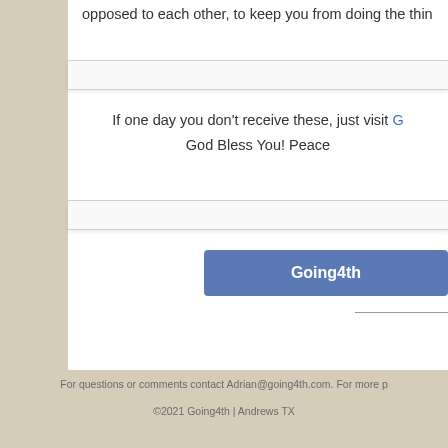opposed to each other, to keep you from doing the thin
[Figure (other): Horizontal divider bar with light background and subtle shadow]
If one day you don't receive these, just visit G
God Bless You! Peace
[Figure (other): Horizontal divider bar with light background and subtle shadow]
[Figure (other): Blue button labeled Going4th]
For questions or comments contact Adrian@going4th.com. For more p
©2021 Going4th | Andrews TX